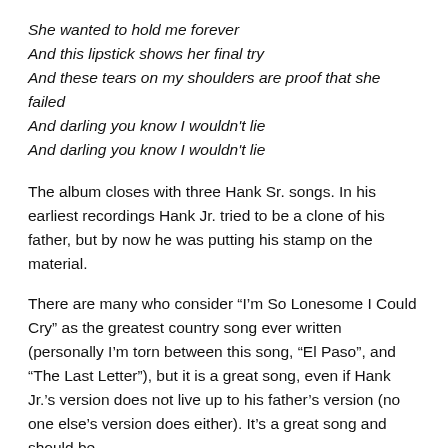She wanted to hold me forever
And this lipstick shows her final try
And these tears on my shoulders are proof that she failed
And darling you know I wouldn't lie
And darling you know I wouldn't lie
The album closes with three Hank Sr. songs. In his earliest recordings Hank Jr. tried to be a clone of his father, but by now he was putting his stamp on the material.
There are many who consider “I'm So Lonesome I Could Cry” as the greatest country song ever written (personally I'm torn between this song, “El Paso”, and “The Last Letter”), but it is a great song, even if Hank Jr.'s version does not live up to his father's version (no one else's version does either). It's a great song and should be